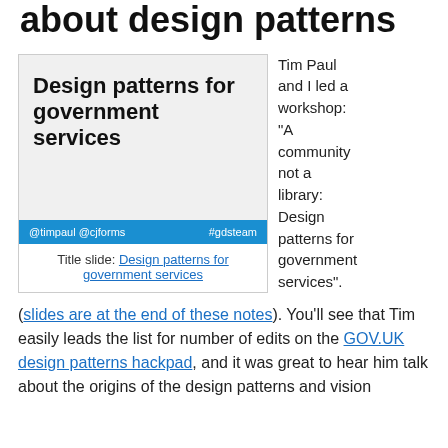about design patterns
[Figure (screenshot): Slide titled 'Design patterns for government services' with a blue footer bar showing '@timpaul @cjforms' and '#gdsteam', followed by a caption 'Title slide: Design patterns for government services' with a hyperlink.]
Tim Paul and I led a workshop: “A community not a library: Design patterns for government services”. (slides are at the end of these notes). You’ll see that Tim easily leads the list for number of edits on the GOV.UK design patterns hackpad, and it was great to hear him talk about the origins of the design patterns and vision